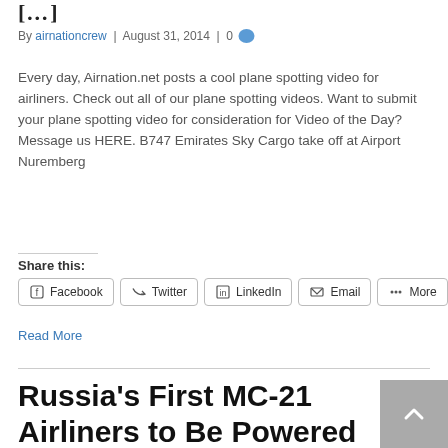[…]
By airnationcrew | August 31, 2014 | 0
Every day, Airnation.net posts a cool plane spotting video for airliners. Check out all of our plane spotting videos. Want to submit your plane spotting video for consideration for Video of the Day? Message us HERE. B747 Emirates Sky Cargo take off at Airport Nuremberg
Share this:
Facebook
Twitter
LinkedIn
Email
More
Read More
Russia's First MC-21 Airliners to Be Powered by Foreign